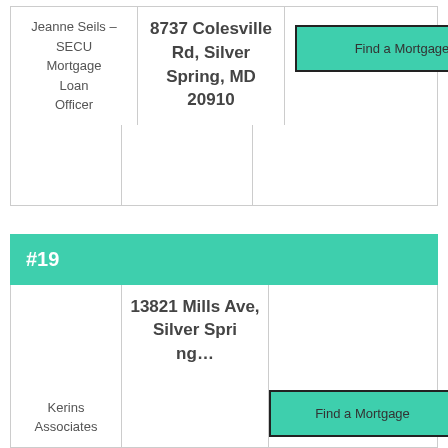| Name | Address | Action |
| --- | --- | --- |
| Jeanne Seils – SECU Mortgage Loan Officer | 8737 Colesville Rd, Silver Spring, MD 20910 | Find a Mortgage |
#19
| Name | Address | Action |
| --- | --- | --- |
| Kerins Associates | 13821 Mills Ave, Silver Spring, … | Find a Mortgage |